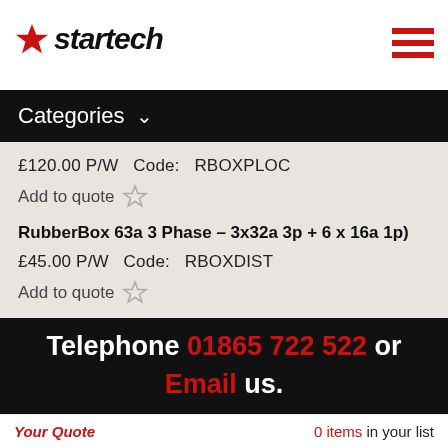Piggy 3253 Phase – 3 x 32a 1 Phase
[Figure (logo): Startech logo with red star icon and bold italic text 'startech']
Categories
£120.00 P/W  Code:  RBOXPLOC
Add to quote
RubberBox 63a 3 Phase – 3x32a 3p + 6 x 16a 1p)
£45.00 P/W  Code:  RBOXDIST
Add to quote
Telephone 01865 722 522 or Email us.
Your Quote  0 items in your list